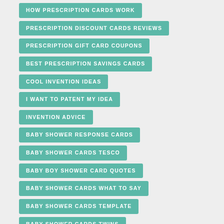HOW PRESCRIPTION CARDS WORK
PRESCRIPTION DISCOUNT CARDS REVIEWS
PRESCRIPTION GIFT CARD COUPONS
BEST PRESCRIPTION SAVINGS CARDS
COOL INVENTION IDEAS
I WANT TO PATENT MY IDEA
INVENTION ADVICE
BABY SHOWER RESPONSE CARDS
BABY SHOWER CARDS TESCO
BABY BOY SHOWER CARD QUOTES
BABY SHOWER CARDS WHAT TO SAY
BABY SHOWER CARDS TEMPLATE
BABY SHOWER CARDS TWINS